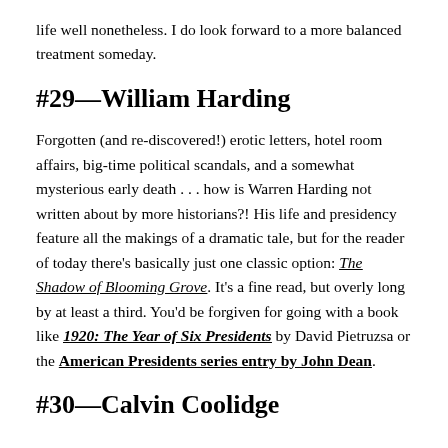life well nonetheless. I do look forward to a more balanced treatment someday.
#29—William Harding
Forgotten (and re-discovered!) erotic letters, hotel room affairs, big-time political scandals, and a somewhat mysterious early death . . . how is Warren Harding not written about by more historians?! His life and presidency feature all the makings of a dramatic tale, but for the reader of today there's basically just one classic option: The Shadow of Blooming Grove. It's a fine read, but overly long by at least a third. You'd be forgiven for going with a book like 1920: The Year of Six Presidents by David Pietruzsa or the American Presidents series entry by John Dean.
#30—Calvin Coolidge